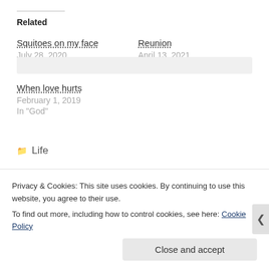Related
Squitoes on my face
July 28, 2020
In "God"
Reunion
April 13, 2021
In "heaven"
When love hurts
February 1, 2019
In "God"
Life
Privacy & Cookies: This site uses cookies. By continuing to use this website, you agree to their use.
To find out more, including how to control cookies, see here: Cookie Policy
Close and accept